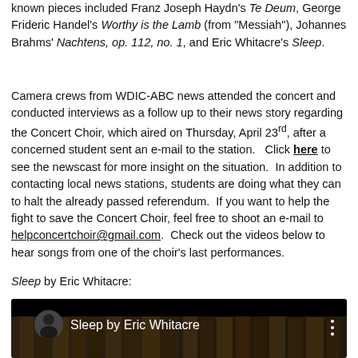known pieces included Franz Joseph Haydn's Te Deum, George Frideric Handel's Worthy is the Lamb (from "Messiah"), Johannes Brahms' Nachtens, op. 112, no. 1, and Eric Whitacre's Sleep.
Camera crews from WDIC-ABC news attended the concert and conducted interviews as a follow up to their news story regarding the Concert Choir, which aired on Thursday, April 23rd, after a concerned student sent an e-mail to the station.   Click here to see the newscast for more insight on the situation.  In addition to contacting local news stations, students are doing what they can to halt the already passed referendum.  If you want to help the fight to save the Concert Choir, feel free to shoot an e-mail to helpconcertchoir@gmail.com.  Check out the videos below to hear songs from one of the choir's last performances.
Sleep by Eric Whitacre:
[Figure (screenshot): YouTube video thumbnail showing 'Sleep by Eric Whitacre' with a circular avatar of a conductor, video title text, and organ pipes visible in the background. Dark/black themed YouTube player.]